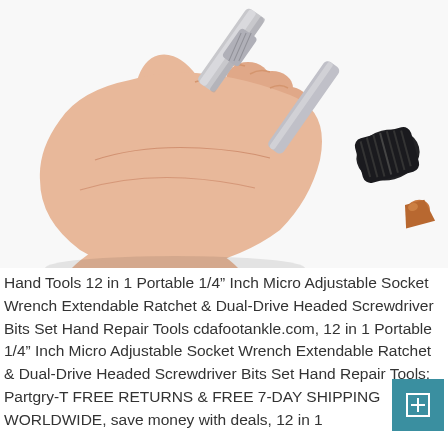[Figure (photo): A hand gripping a silver/chrome 12-in-1 portable micro adjustable socket wrench ratchet screwdriver tool, shown on white background. The tool has a black socket head with a copper-colored tip visible on the right side.]
Hand Tools 12 in 1 Portable 1/4" Inch Micro Adjustable Socket Wrench Extendable Ratchet & Dual-Drive Headed Screwdriver Bits Set Hand Repair Tools cdafootankle.com, 12 in 1 Portable 1/4" Inch Micro Adjustable Socket Wrench Extendable Ratchet & Dual-Drive Headed Screwdriver Bits Set Hand Repair Tools: Partgry-T FREE RETURNS & FREE 7-DAY SHIPPING WORLDWIDE, save money with deals, 12 in 1